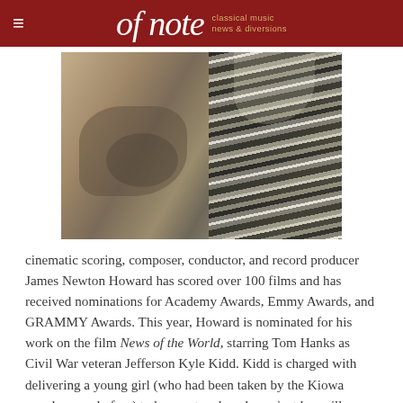of note — classical music news & diversions
[Figure (photo): Close-up photo of a person sitting outdoors, hands clasped, wearing a striped blanket or poncho draped over them, with natural outdoor light.]
cinematic scoring, composer, conductor, and record producer James Newton Howard has scored over 100 films and has received nominations for Academy Awards, Emmy Awards, and GRAMMY Awards. This year, Howard is nominated for his work on the film News of the World, starring Tom Hanks as Civil War veteran Jefferson Kyle Kidd. Kidd is charged with delivering a young girl (who had been taken by the Kiowa people years before) to her aunt and uncle against her will.